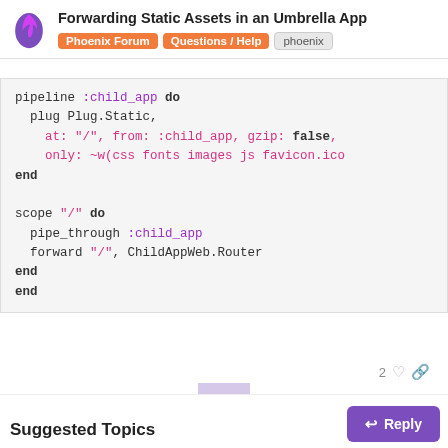Forwarding Static Assets in an Umbrella App | Phoenix Forum | Questions / Help | phoenix
[Figure (screenshot): Code block showing Elixir router configuration with pipeline :child_app, plug Plug.Static, scope and forward directives]
2 (likes)
1 / 3
Suggested Topics
Reply